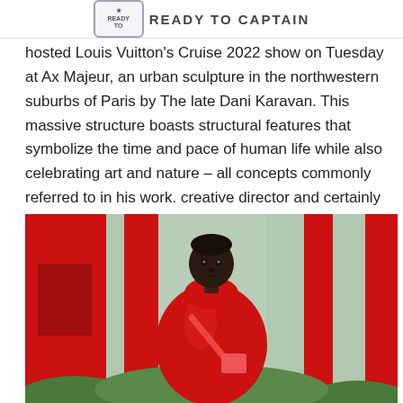[logo] READY TO CAPTAIN
hosted Louis Vuitton's Cruise 2022 show on Tuesday at Ax Majeur, an urban sculpture in the northwestern suburbs of Paris by The late Dani Karavan. This massive structure boasts structural features that symbolize the time and pace of human life while also celebrating art and nature – all concepts commonly referred to in his work. creative director and certainly in this collection.
[Figure (photo): A model wearing a shiny red oversized jacket and a red crossbody bag, standing in front of large red sculptural architectural columns at Ax Majeur, with green landscape in the background.]